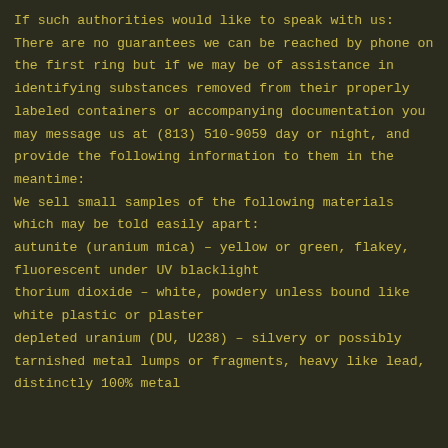If such authorities would like to speak with us: There are no guarantees we can be reached by phone on the first ring but if we may be of assistance in identifying substances removed from their properly labeled containers or accompanying documentation you may message us at (813) 510-9059 day or night, and provide the following information to them in the meantime:
We sell small samples of the following materials which may be told easily apart:
autunite (uranium mica) – yellow or green, flakey, fluorescent under UV blacklight
thorium dioxide – white, powdery unless bound like white plastic or plaster
depleted uranium (DU, U238) – silvery or possibly tarnished metal lumps or fragments, heavy like lead, distinctly 100% metal